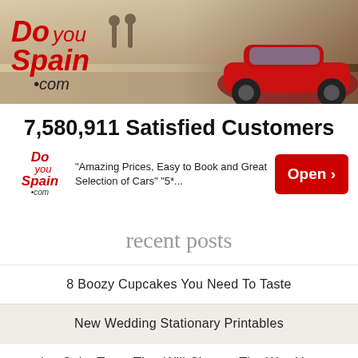[Figure (screenshot): DoYouSpain.com advertisement banner showing a red car and people walking in background with DoYouSpain.com logo in red italic text]
7,580,911 Satisfied Customers
[Figure (infographic): DoYouSpain.com ad unit with logo, quote text 'Amazing Prices, Easy to Book and Great Selection of Cars' '5*...', and a red Open button with arrow]
recent posts
8 Boozy Cupcakes You Need To Taste
New Wedding Stationary Printables
Ice Cube Trays That Will Change The Way You